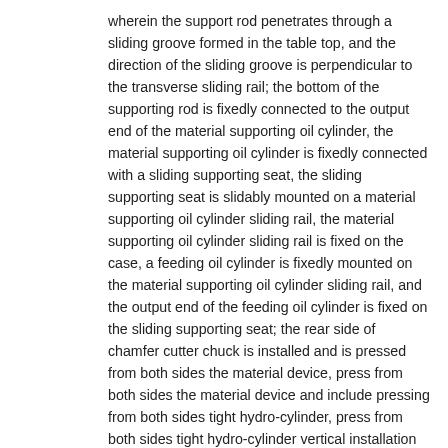wherein the support rod penetrates through a sliding groove formed in the table top, and the direction of the sliding groove is perpendicular to the transverse sliding rail; the bottom of the supporting rod is fixedly connected to the output end of the material supporting oil cylinder, the material supporting oil cylinder is fixedly connected with a sliding supporting seat, the sliding supporting seat is slidably mounted on a material supporting oil cylinder sliding rail, the material supporting oil cylinder sliding rail is fixed on the case, a feeding oil cylinder is fixedly mounted on the material supporting oil cylinder sliding rail, and the output end of the feeding oil cylinder is fixed on the sliding supporting seat; the rear side of chamfer cutter chuck is installed and is pressed from both sides the material device, press from both sides the material device and include pressing from both sides tight hydro-cylinder, press from both sides tight hydro-cylinder vertical installation on pressing from both sides tight hydro-cylinder fixing base, the bottom output position fixed mounting that presss from both sides tight hydro-cylinder has tight piece mount pad, and the lower surface of pressing from both sides tight piece mount pad is equipped with an curved installing port, and installs the annular tight piece of clamp of semicircle in the installing port, also is equipped with tight piece under pressing from both sides tight piece mount pad, and the tight piece of pressing from both sides that to clamp the